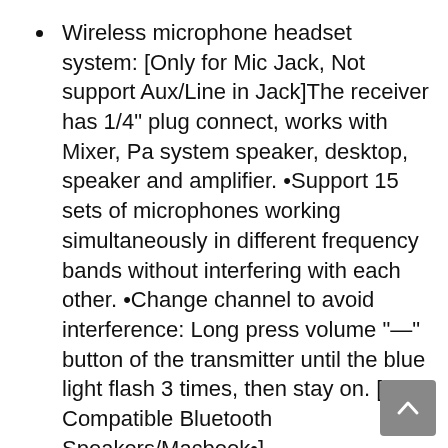Wireless microphone headset system: [Only for Mic Jack, Not support Aux/Line in Jack]The receiver has 1/4" plug connect, works with Mixer, Pa system speaker, desktop, speaker and amplifier. •Support 15 sets of microphones working simultaneously in different frequency bands without interfering with each other. •Change channel to avoid interference: Long press volume "—" button of the transmitter until the blue light flash 3 times, then stay on. [•Not Compatible Bluetooth Speakers/Macbook•].
Professional UHF Wireless Mic Performance: Upgraded Bietrun wireless microphone, FCC certified UHF independent frequency bands, high-sensitivity condenser microphone. •Stable & Comfortable •165 feet (50m) transmission distance •Signal stability •No delay •No radiation •Anti-howling •Anti-jamming •Constant frequency •Clearer sound quality.